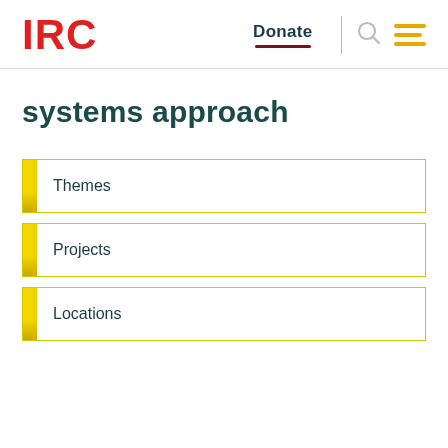IRC | Donate
systems approach
Themes
Projects
Locations